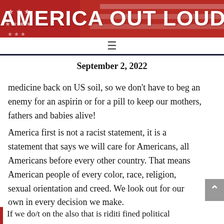AMERICA OUT LOUD
September 2, 2022
medicine back on US soil, so we don't have to beg an enemy for an aspirin or for a pill to keep our mothers, fathers and babies alive!
America first is not a racist statement, it is a statement that says we will care for Americans, all Americans before every other country. That means American people of every color, race, religion, sexual orientation and creed. We look out for our own in every decision we make.
If we do/t on the also that is riditi fined political